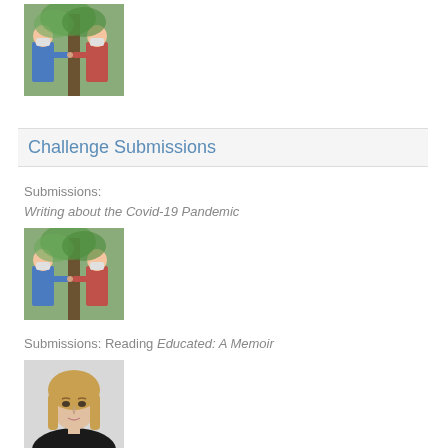[Figure (photo): Two children wearing face masks doing an elbow bump greeting outdoors among trees]
Challenge Submissions
Submissions:
Writing about the Covid-19 Pandemic
[Figure (photo): Two children wearing face masks doing an elbow bump greeting outdoors among trees]
Submissions: Reading Educated: A Memoir
[Figure (photo): Portrait of a woman with long blonde hair wearing a black top]